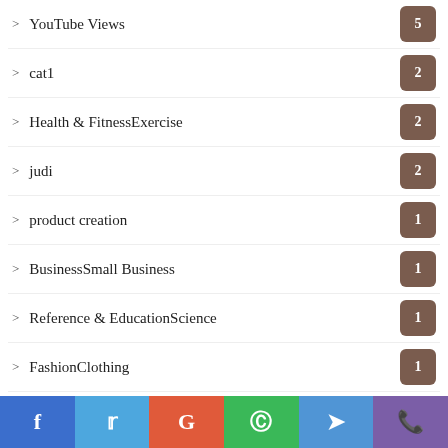YouTube Views 5
cat1 2
Health & FitnessExercise 2
judi 2
product creation 1
BusinessSmall Business 1
Reference & EducationScience 1
FashionClothing 1
w88 1
youtube subscribers 1
Tile 1
social media 1
казино 1